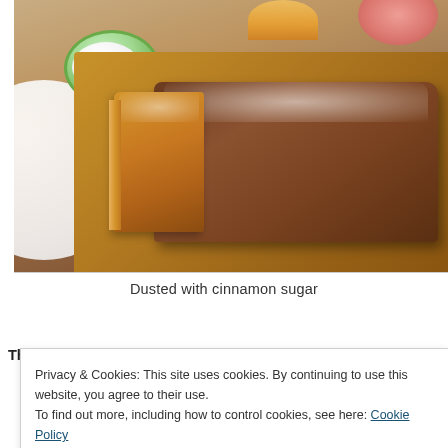[Figure (photo): Photo of sliced bread loaf dusted with powdered sugar/cinnamon sugar on a wooden cutting board, with a green-rimmed bowl of cream and other dishes visible in the background]
Dusted with cinnamon sugar
This recipe makes around 11 serves or slices and it's
Privacy & Cookies: This site uses cookies. By continuing to use this website, you agree to their use.
To find out more, including how to control cookies, see here: Cookie Policy
Close and accept